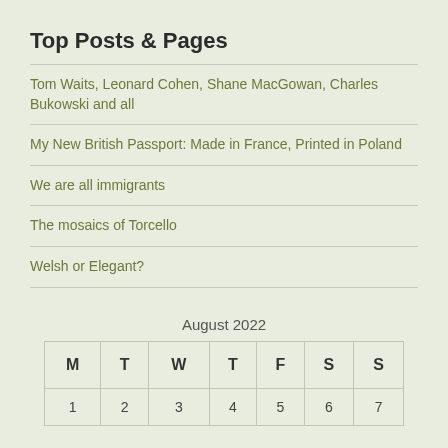Top Posts & Pages
Tom Waits, Leonard Cohen, Shane MacGowan, Charles Bukowski and all
My New British Passport: Made in France, Printed in Poland
We are all immigrants
The mosaics of Torcello
Welsh or Elegant?
August 2022
| M | T | W | T | F | S | S |
| --- | --- | --- | --- | --- | --- | --- |
| 1 | 2 | 3 | 4 | 5 | 6 | 7 |